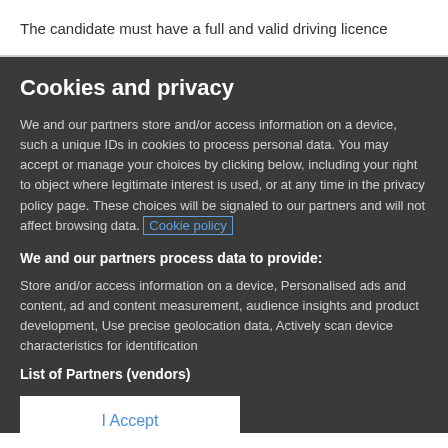The candidate must have a full and valid driving licence
Cookies and privacy
We and our partners store and/or access information on a device, such a unique IDs in cookies to process personal data. You may accept or manage your choices by clicking below, including your right to object where legitimate interest is used, or at any time in the privacy policy page. These choices will be signaled to our partners and will not affect browsing data. Cookie policy
We and our partners process data to provide:
Store and/or access information on a device, Personalised ads and content, ad and content measurement, audience insights and product development, Use precise geolocation data, Actively scan device characteristics for identification
List of Partners (vendors)
I Accept